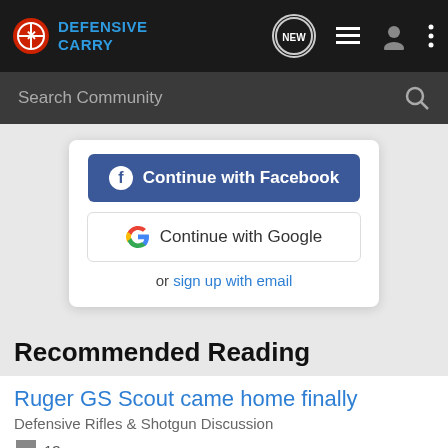Defensive Carry
Search Community
Continue with Facebook
Continue with Google
or sign up with email
Recommended Reading
Ruger GS Scout came home finally
Defensive Rifles & Shotgun Discussion
13
[Figure (screenshot): Bass Pro Shops Hunting Clearance Bargain Cave advertisement banner with SHOP NOW button]